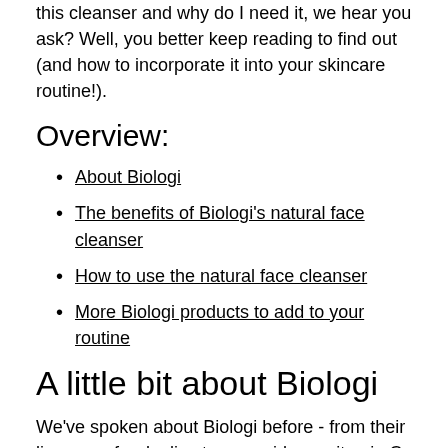this cleanser and why do I need it, we hear you ask? Well, you better keep reading to find out (and how to incorporate it into your skincare routine!).
Overview:
About Biologi
The benefits of Biologi's natural face cleanser
How to use the natural face cleanser
More Biologi products to add to your routine
A little bit about Biologi
We've spoken about Biologi before - from their lip serum for dry lips to our guide on vitamin C for skin, but if you're new to the brand, we'll give you